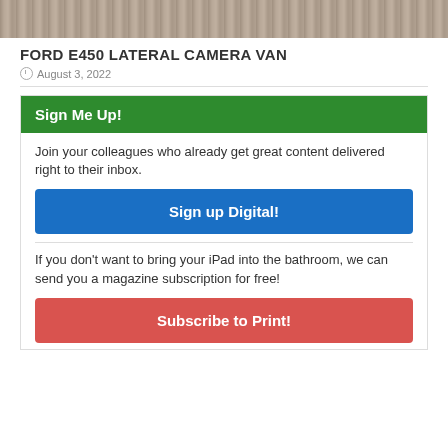[Figure (photo): Top partial image showing textured surface, cropped at top of page]
FORD E450 LATERAL CAMERA VAN
August 3, 2022
Sign Me Up!
Join your colleagues who already get great content delivered right to their inbox.
Sign up Digital!
If you don't want to bring your iPad into the bathroom, we can send you a magazine subscription for free!
Subscribe to Print!